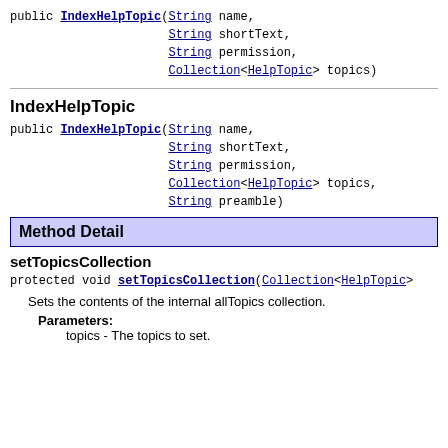public IndexHelpTopic(String name,
                      String shortText,
                      String permission,
                      Collection<HelpTopic> topics)
IndexHelpTopic
public IndexHelpTopic(String name,
                      String shortText,
                      String permission,
                      Collection<HelpTopic> topics,
                      String preamble)
Method Detail
setTopicsCollection
protected void setTopicsCollection(Collection<HelpTopic>
Sets the contents of the internal allTopics collection.
Parameters:
    topics - The topics to set.